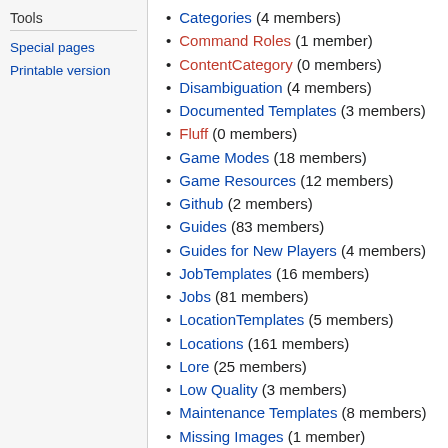Tools
Special pages
Printable version
Categories (4 members)
Command Roles (1 member)
ContentCategory (0 members)
Disambiguation (4 members)
Documented Templates (3 members)
Fluff (0 members)
Game Modes (18 members)
Game Resources (12 members)
Github (2 members)
Guides (83 members)
Guides for New Players (4 members)
JobTemplates (16 members)
Jobs (81 members)
LocationTemplates (5 members)
Locations (161 members)
Lore (25 members)
Low Quality (3 members)
Maintenance Templates (8 members)
Missing Images (1 member)